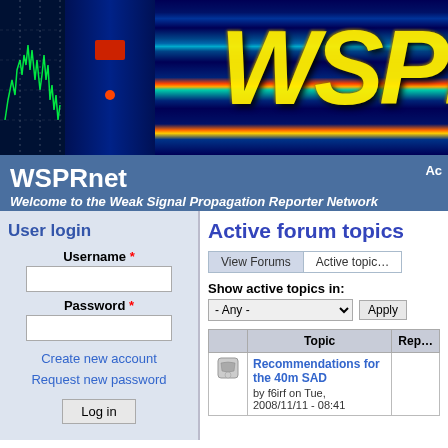[Figure (screenshot): WSPR spectrogram banner image with yellow italic WSPR text overlay on radio frequency spectrum visualization]
WSPRnet
Welcome to the Weak Signal Propagation Reporter Network
User login
Username *
Password *
Create new account
Request new password
Active forum topics
Show active topics in:
| Topic | Rep |
| --- | --- |
| Recommendations for the 40m SAD
by f6irf on Tue, 2008/11/11 - 08:41 |  |